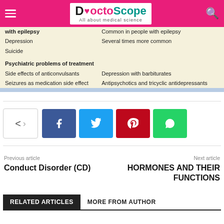DoctoScope — All about medical science
| with epilepsy | Common in people with epilepsy |
| Depression | Several times more common |
| Suicide |  |
| Psychiatric problems of treatment |  |
| Side effects of anticonvulsants | Depression with barbiturates |
| Seizures as medication side effect | Antipsychotics and tricyclic antidepressants |
[Figure (infographic): Social share buttons: share toggle, Facebook, Twitter, Pinterest, WhatsApp]
Previous article
Conduct Disorder (CD)
Next article
HORMONES AND THEIR FUNCTIONS
RELATED ARTICLES   MORE FROM AUTHOR